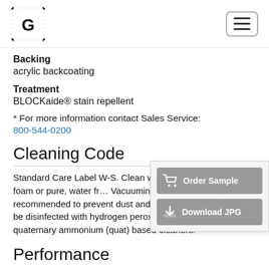G logo and hamburger menu
Backing
acrylic backcoating
Treatment
BLOCKaide® stain repellent
* For more information contact Sales Service:
800-544-0200
Cleaning Code
Standard Care Label W-S. Clean with cleaning agents, foam or pure, water fr… Vacuuming or light brushing is recommended to prevent dust and soil buildup. May also be disinfected with hydrogen peroxide, alcohol, and quaternary ammonium (quat) based cleaners.
Performance
[Figure (screenshot): Order Sample and Download JPG button overlay panel]